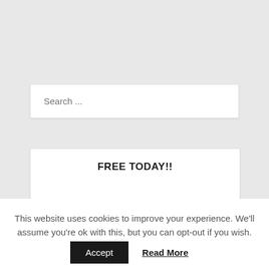Search ...
FREE TODAY!!
[Figure (illustration): A curling white book/booklet with a brown dollar sign icon badge on the cover, partially visible at the bottom of a white card]
This website uses cookies to improve your experience. We'll assume you're ok with this, but you can opt-out if you wish.
Accept  Read More